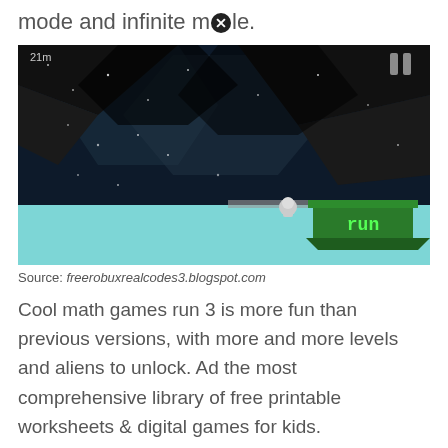mode and infinite mode.
[Figure (screenshot): Screenshot of Run 3 game showing a 3D tunnel with black platforms on a blue background, a small character running, and a green 'run' sign in the lower right. Distance shown: 21m]
Source: freerobuxrealcodes3.blogspot.com
Cool math games run 3 is more fun than previous versions, with more and more levels and aliens to unlock. Ad the most comprehensive library of free printable worksheets & digital games for kids.
[Figure (screenshot): Partial screenshot of Run 3 game showing blue background with black geometric shapes and a character with a circular X icon]